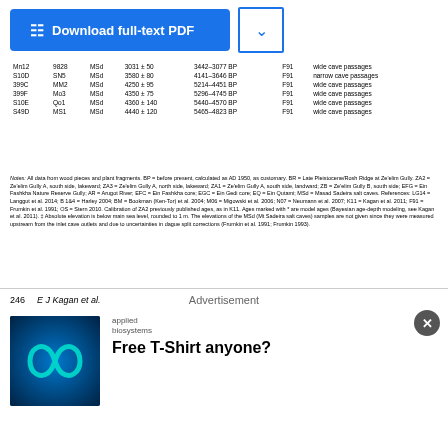[Figure (other): Download full-text PDF button with blue background and a dropdown arrow button]
|  |  |  |  |  |  |  |
| --- | --- | --- | --- | --- | --- | --- |
| Mn12 | 9828 | MSd | 3031 ± 50 | 3442–3077 BP | F91 | wide cave passages |
| S10D | SN5 | MSd | 3580 ± 80 | 4141–3646 BP | F91 | narrow cave passages |
| 399C | MM2 | MSd | 4250 ± 95 | 5214–4451 BP | F91 | wide cave passages |
| 399F | Mo3 | MSd | 4350 ± 75 | 5296–4745 BP | F91 | wide cave passages |
| S10E | Qo1 | MSd | 4360 ± 140 | 5440–4570 BP | F91 | wide cave passages |
| S49D | MS1 | MSd | 4440 ± 120 | 5465–4823 BP | F91 | wide cave passages |
Notes: All data from wood pieces and plant fragments. BP = before present, calculated as AD 1950, as customary. BR = Late Pleistocene/Rosh Ridge at Ze'elim Gully. ZA2 = Ze'elim Gully A, south side, lakeward; ZA3 = Ze'elim Gully A, north side, lakeward; ZA1 = Ze'elim Gully A, south side, landward; ZB = Ze'elim Gully B, south side; EFG = Ein Fashkha Nature Reserve Gully; AR = Arugot River; EFC = Ein Fashkha core; EGC = Ein Gedi core; EQ = Ein Qutami; MSd = Masad Sadeira salt caves. References: LG14 = Langgut et al. 2014; B 1&4 = Harley 2004; BM = Bookman (Ken-Tor) et al. 2004; M06 = Migowski et al. 2006; N07 = Neumann et al. 2007; K11 = Kagan et al. 2011; F91 = Frumkin et al. 1991; OS = Stern 2010. Calibration of ZA2 previously published ages, as in K11. Ages marked with * are model ages (Bayesian age-depth modeling, see Kagan et al. 2011). ‡ Absolute elevation is below main sea level, rounded to 1 m. The elevations of the MSd (Mt Sadeira salt caves) samples are not given since they were measured upstream from the inlet cave outlets and due to uncertainties in dague split corrections (Frumkin et al. 1991; Frumkin 1993).
246    E J Kagan et al.
Advertisement
[Figure (logo): Applied Biosystems logo with infinity symbol on blue background]
Free T-Shirt anyone?